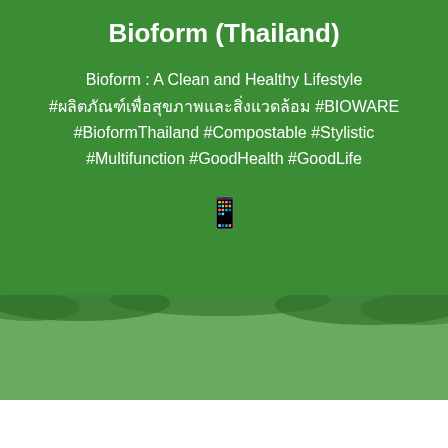Bioform (Thailand)
Bioform : A Clean and Healthy Lifestyle #ผลิตภัณฑ์เพื่อสุขภาพและสิ่งแวดล้อม #BIOWARE #BioformThailand #Compostable #Stylistic #Multifunction #GoodHealth #GoodLife
[Figure (photo): Green landscape photo in lower portion of page, blending into medium green section]